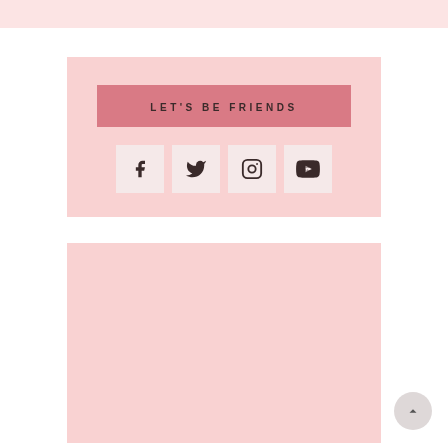[Figure (other): Top pink decorative bar at the top of the page]
LET'S BE FRIENDS
[Figure (other): Social media icons: Facebook, Twitter, Instagram, YouTube]
[Figure (other): Bottom pink decorative block with scroll-to-top button]